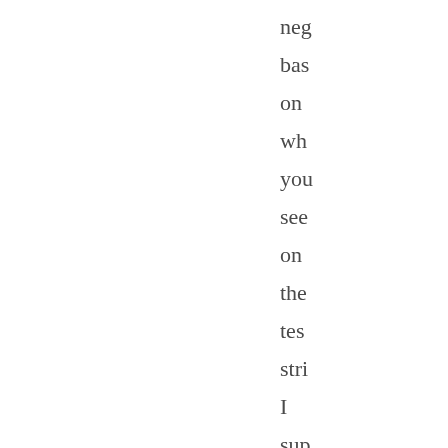neg bas on wh you see on the tes stri I sup tha you cou als use thi as